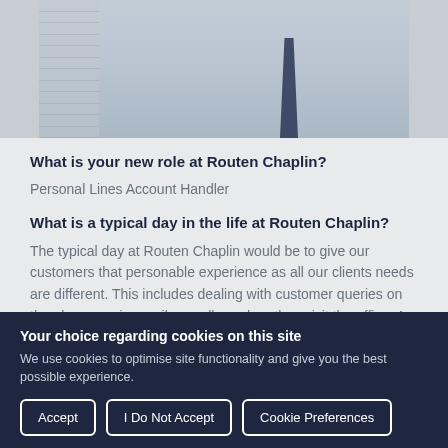[Figure (photo): Partial photo of a person in a light blue/grey shirt and dark navy tie, with window blinds visible in the background. Only the torso and partial neck/chin area are visible.]
What is your new role at Routen Chaplin?
Personal Lines Account Handler
What is a typical day in the life at Routen Chaplin?
The typical day at Routen Chaplin would be to give our customers that personable experience as all our clients needs are different. This includes dealing with customer queries on the phone or via email as well as when they visit the office. As account handlers...
Your choice regarding cookies on this site
We use cookies to optimise site functionality and give you the best possible experience.
Accept | I Do Not Accept | Cookie Preferences